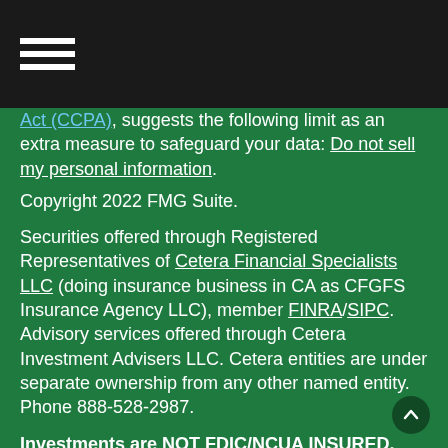[hamburger menu icon]
... suggests the following limit as an extra measure to safeguard your data: Do not sell my personal information.
Copyright 2022 FMG Suite.
Securities offered through Registered Representatives of Cetera Financial Specialists LLC (doing insurance business in CA as CFGFS Insurance Agency LLC), member FINRA/SIPC. Advisory services offered through Cetera Investment Advisers LLC. Cetera entities are under separate ownership from any other named entity. Phone 888-528-2987.
Investments are NOT FDIC/NCUA INSURED, NOT A DEPOSIT, NOT INSURED BY ANY GOVERNMENT AGENCY, NOT BANK/CREDIT UNION GUARANTEED, MAY LOSE VALUE.